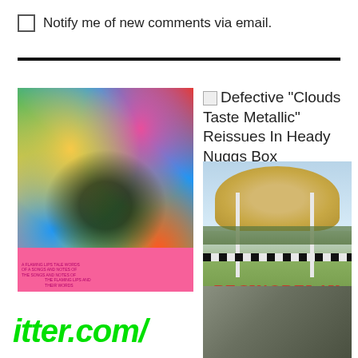Notify me of new comments via email.
[Figure (illustration): Psychedelic colorful album cover art with abstract face and bright colors, pink bottom bar with small text]
Defective "Clouds Taste Metallic" Reissues In Heady Nuggs Box
[Figure (photo): Beck Odelay album cover showing a hay-topped object on a cross structure in a field with text BECK!ODELAY]
itter.com/
[Figure (photo): Dark partial photo in bottom right corner]